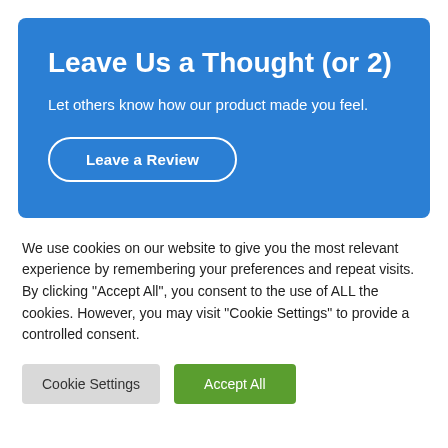Leave Us a Thought (or 2)
Let others know how our product made you feel.
Leave a Review
We use cookies on our website to give you the most relevant experience by remembering your preferences and repeat visits. By clicking “Accept All”, you consent to the use of ALL the cookies. However, you may visit "Cookie Settings" to provide a controlled consent.
Cookie Settings
Accept All